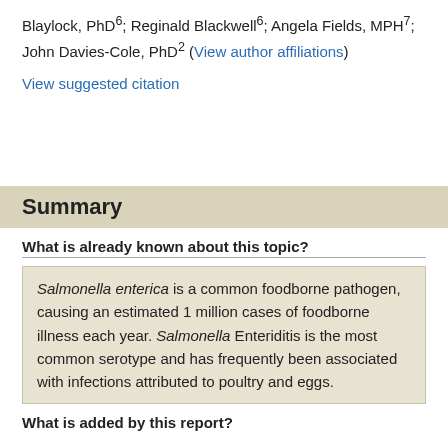Blaylock, PhD⁶; Reginald Blackwell⁶; Angela Fields, MPH⁷; John Davies-Cole, PhD² (View author affiliations)
View suggested citation
Summary
What is already known about this topic?
Salmonella enterica is a common foodborne pathogen, causing an estimated 1 million cases of foodborne illness each year. Salmonella Enteriditis is the most common serotype and has frequently been associated with infections attributed to poultry and eggs.
What is added by this report?